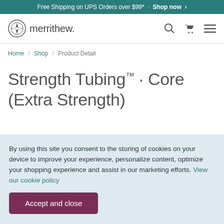Free Shipping on UPS Orders over $99* · Shop now >
[Figure (logo): Merrithew logo with compass-style icon and text 'merrithew.']
Home / Shop / Product Detail
Strength Tubing™ · Core (Extra Strength)
By using this site you consent to the storing of cookies on your device to improve your experience, personalize content, optimize your shopping experience and assist in our marketing efforts. View our cookie policy
Accept and close